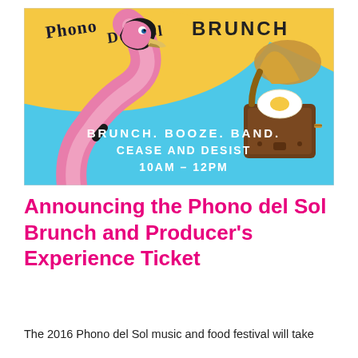[Figure (illustration): Colorful illustrated poster for 'Phono Del Sol Brunch' featuring a pink flamingo on the left, a vintage gramophone with a fried egg on top on the right, against a sky-blue background with a yellow arc. Text reads: 'BRUNCH. BOOZE. BAND. CEASE AND DESIST 10AM – 12PM']
Announcing the Phono del Sol Brunch and Producer's Experience Ticket
The 2016 Phono del Sol music and food festival will take